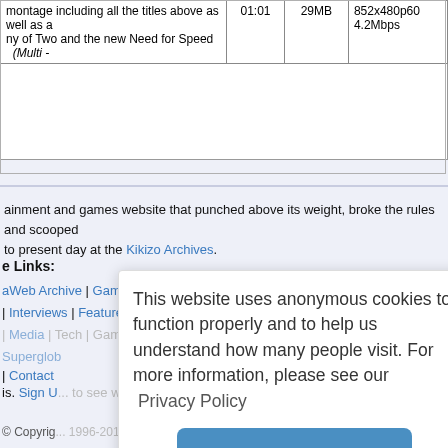| Description | Time | Size | Spec |
| --- | --- | --- | --- |
| montage including all the titles above as well as a ny of Two and the new Need for Speed  (Multi - | 01:01 | 29MB | 852x480p60
4.2Mbps |
ainment and games website that punched above its weight, broke the rules and scooped to present day at the Kikizo Archives.
e Links:
aWeb Archive | GamerWeb Archive
| Interviews | Features | Videos | News | Previews | Cheats | Gaijin | Movies
| Media | Tech | Games | Film | TV | Music | Future | London | World
Superglob...
| Contact
is. Sign U... to see what our teams li...
This website uses anonymous cookies to function properly and to help us understand how many people visit. For more information, please see our Privacy Policy
I understand
© Copyrig... 1996-2018 Superglobal U...